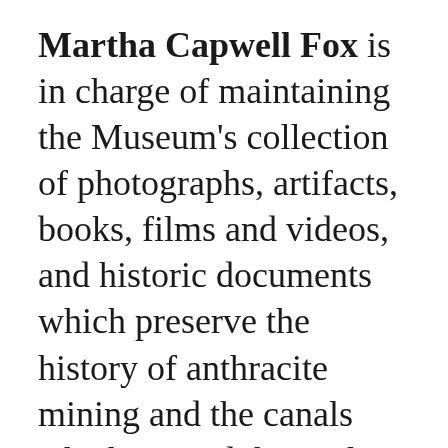Martha Capwell Fox is in charge of maintaining the Museum's collection of photographs, artifacts, books, films and videos, and historic documents which preserve the history of anthracite mining and the canals which carried the coal to market as well as the industries which sprang up as a result. She creats and installs exhibits for the Museum's